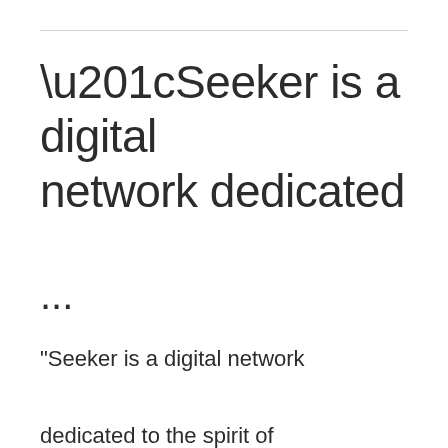“Seeker is a digital network dedicated
...
"Seeker is a digital network dedicated to the spirit of adventure and pursuit of